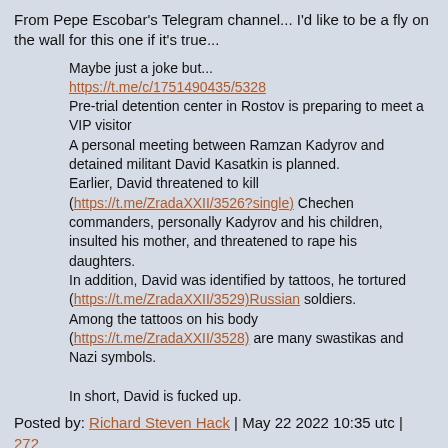From Pepe Escobar's Telegram channel... I'd like to be a fly on the wall for this one if it's true...
Maybe just a joke but...
https://t.me/c/1751490435/5328
Pre-trial detention center in Rostov is preparing to meet a VIP visitor
A personal meeting between Ramzan Kadyrov and detained militant David Kasatkin is planned.
Earlier, David threatened to kill (https://t.me/ZradaXXII/3526?single) Chechen commanders, personally Kadyrov and his children, insulted his mother, and threatened to rape his daughters.
In addition, David was identified by tattoos, he tortured (https://t.me/ZradaXXII/3529)Russian soldiers.
Among the tattoos on his body (https://t.me/ZradaXXII/3528) are many swastikas and Nazi symbols.

In short, David is fucked up.
Posted by: Richard Steven Hack | May 22 2022 10:35 utc | 272
"... Blinken might think back to lessons learned from old wise men. Like maybe his stepfather, Sam Pisar. Who was